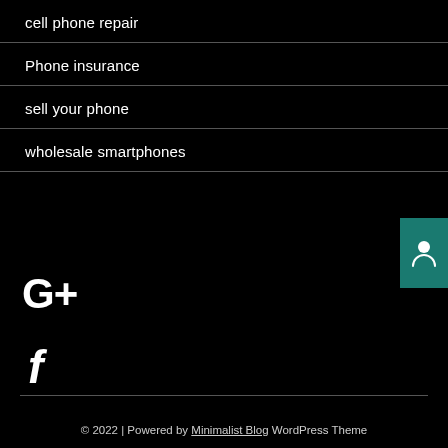cell phone repair
Phone insurance
sell your phone
wholesale smartphones
[Figure (logo): Teal-colored contact/person icon widget on right edge]
[Figure (logo): Google Plus G+ logo in white large text]
[Figure (logo): Facebook f logo in white large italic text]
© 2022 | Powered by Minimalist Blog WordPress Theme